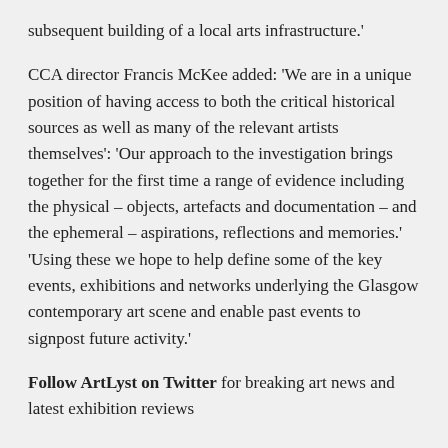subsequent building of a local arts infrastructure.'
CCA director Francis McKee added: 'We are in a unique position of having access to both the critical historical sources as well as many of the relevant artists themselves': 'Our approach to the investigation brings together for the first time a range of evidence including the physical – objects, artefacts and documentation – and the ephemeral – aspirations, reflections and memories.' 'Using these we hope to help define some of the key events, exhibitions and networks underlying the Glasgow contemporary art scene and enable past events to signpost future activity.'
Follow ArtLyst on Twitter for breaking art news and latest exhibition reviews